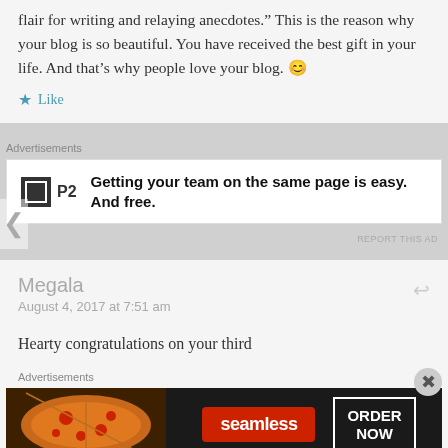flair for writing and relaying anecdotes.” This is the reason why your blog is so beautiful. You have received the best gift in your life. And that’s why people love your blog. 😊
★ Like
Advertisements
[Figure (other): P2 advertisement: logo with black square icon and P2 text, tagline: Getting your team on the same page is easy. And free.]
REPORT THIS AD
Megala
August 4, 2017 at 7:51 am
Hearty congratulations on your third
Advertisements
[Figure (other): Seamless food delivery advertisement with pizza image, Seamless logo on red background, and ORDER NOW button]